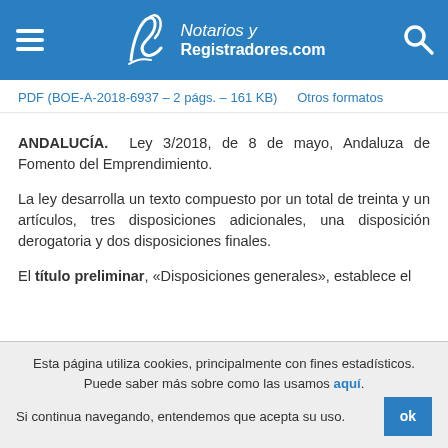Notarios y Registradores.com
PDF (BOE-A-2018-6937 – 2 págs. – 161 KB)   Otros formatos
ANDALUCÍA. Ley 3/2018, de 8 de mayo, Andaluza de Fomento del Emprendimiento.
La ley desarrolla un texto compuesto por un total de treinta y un artículos, tres disposiciones adicionales, una disposición derogatoria y dos disposiciones finales.
El título preliminar, «Disposiciones generales», establece el
Esta página utiliza cookies, principalmente con fines estadísticos. Puede saber más sobre como las usamos aquí. Si continua navegando, entendemos que acepta su uso.